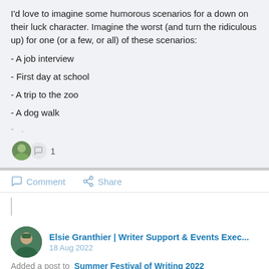I'd love to imagine some humorous scenarios for a down on their luck character. Imagine the worst (and turn the ridiculous up) for one (or a few, or all) of these scenarios:
- A job interview
- First day at school
- A trip to the zoo
- A dog walk
- .
Comment  Share
Elsie Granthier | Writer Support & Events Exec...
18 Aug 2022
Added a post to Summer Festival of Writing 2022
I had a blast listening to Hannah Vincent's session. I'd love to